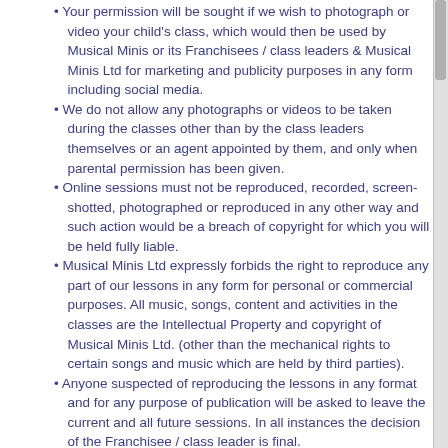• Your permission will be sought if we wish to photograph or video your child's class, which would then be used by Musical Minis or its Franchisees / class leaders & Musical Minis Ltd for marketing and publicity purposes in any form including social media.
• We do not allow any photographs or videos to be taken during the classes other than by the class leaders themselves or an agent appointed by them, and only when parental permission has been given.
• Online sessions must not be reproduced, recorded, screen-shotted, photographed or reproduced in any other way and such action would be a breach of copyright for which you will be held fully liable.
• Musical Minis Ltd expressly forbids the right to reproduce any part of our lessons in any form for personal or commercial purposes. All music, songs, content and activities in the classes are the Intellectual Property and copyright of Musical Minis Ltd. (other than the mechanical rights to certain songs and music which are held by third parties).
• Anyone suspected of reproducing the lessons in any format and for any purpose of publication will be asked to leave the current and all future sessions. In all instances the decision of the Franchisee / class leader is final.
• All photography, logos and illustrations are the copyright of Musical Minis Ltd. Any scanning or reproduction of any of these without our written agreement will be regarded as being in breach of our